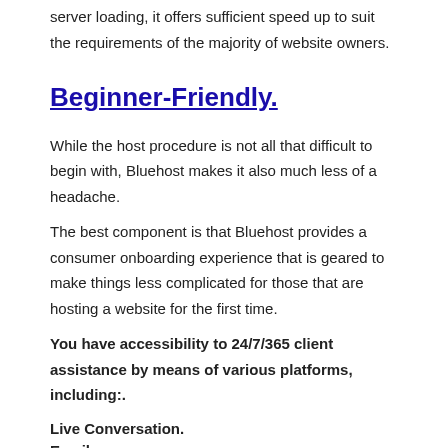server loading, it offers sufficient speed up to suit the requirements of the majority of website owners.
Beginner-Friendly.
While the host procedure is not all that difficult to begin with, Bluehost makes it also much less of a headache.
The best component is that Bluehost provides a consumer onboarding experience that is geared to make things less complicated for those that are hosting a website for the first time.
You have accessibility to 24/7/365 client assistance by means of various platforms, including:.
Live Conversation.
Emails.
Ticketing System.
Telephone call.